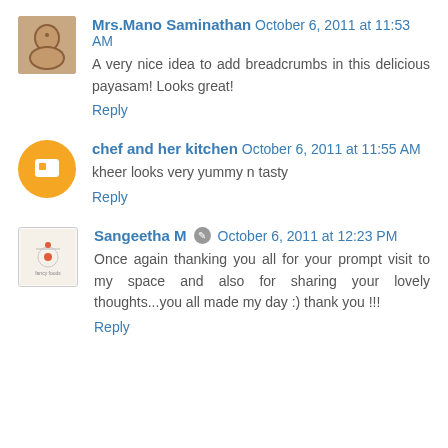Mrs.Mano Saminathan  October 6, 2011 at 11:53 AM
A very nice idea to add breadcrumbs in this delicious payasam! Looks great!
Reply
chef and her kitchen  October 6, 2011 at 11:55 AM
kheer looks very yummy n tasty
Reply
Sangeetha M  October 6, 2011 at 12:23 PM
Once again thanking you all for your prompt visit to my space and also for sharing your lovely thoughts...you all made my day :) thank you !!!
Reply